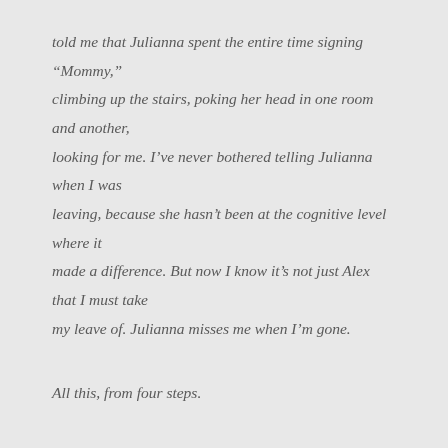told me that Julianna spent the entire time signing “Mommy,” climbing up the stairs, poking her head in one room and another, looking for me. I’ve never bothered telling Julianna when I was leaving, because she hasn’t been at the cognitive level where it made a difference. But now I know it’s not just Alex that I must take my leave of. Julianna misses me when I’m gone.
All this, from four steps.
Wow.